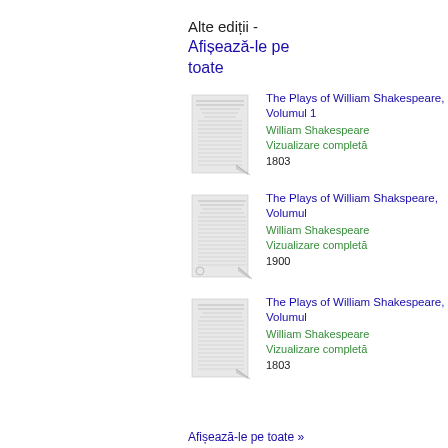Alte ediții - Afișează-le pe toate
The Plays of William Shakespeare, Volumul 1
William Shakespeare
Vizualizare completă
1803
The Plays of William Shakspeare, Volumul
William Shakespeare
Vizualizare completă
1900
The Plays of William Shakespeare, Volumul
William Shakespeare
Vizualizare completă
1803
Afișează-le pe toate »